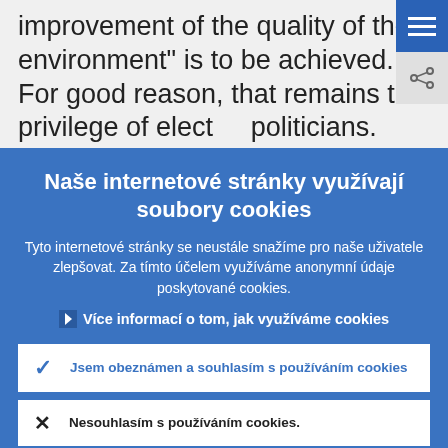improvement of the quality of the environment” is to be achieved. For good reason, that remains the privilege of elected politicians.
Naše internetové stránky využívají soubory cookies
Tyto internetové stránky se neustále snažíme pro naše uživatele zlepšovat. Za tímto účelem využíváme anonymní údaje poskytované cookies.
› Více informací o tom, jak využíváme cookies
Jsem obeznámen a souhlasím s používáním cookies
Nesouhlasím s používáním cookies.